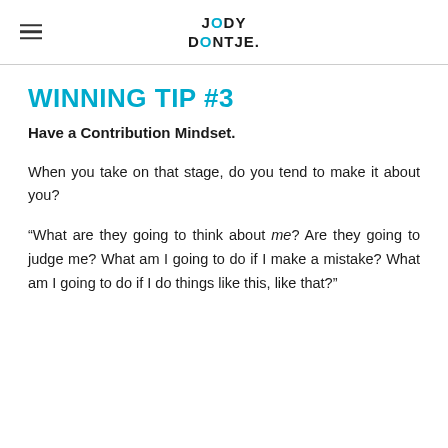JODY DONTJE.
WINNING TIP #3
Have a Contribution Mindset.
When you take on that stage, do you tend to make it about you?
“What are they going to think about me? Are they going to judge me? What am I going to do if I make a mistake? What am I going to do if I do things like this, like that?”